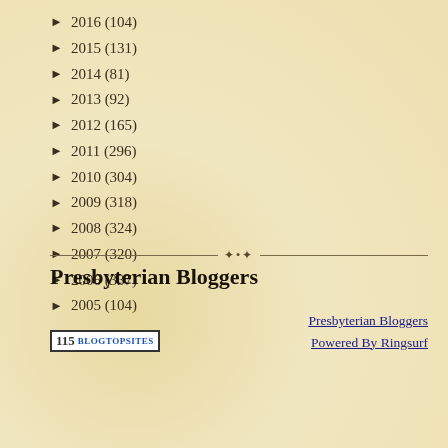► 2016 (104)
► 2015 (131)
► 2014 (81)
► 2013 (92)
► 2012 (165)
► 2011 (296)
► 2010 (304)
► 2009 (318)
► 2008 (324)
► 2007 (320)
► 2006 (337)
► 2005 (104)
Presbyterian Bloggers
Presbyterian Bloggers
Powered By Ringsurf
[Figure (other): BlogTopSites badge showing number 115]